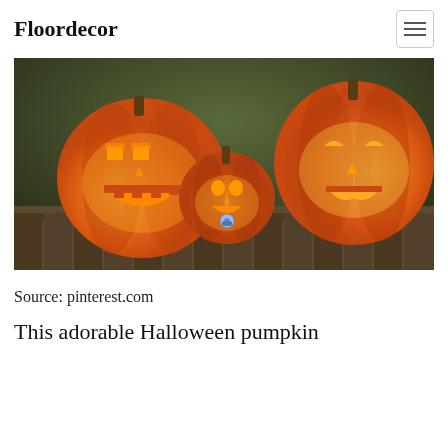Floordecor
[Figure (photo): Three carved Halloween jack-o'-lantern pumpkins glowing with candlelight, sitting on a wooden fence outdoors. Left pumpkin has a robot-like face, middle small pumpkin has a pacifier, right large pumpkin has a classic smiling face. Autumn foliage in background.]
Source: pinterest.com
This adorable Halloween pumpkin